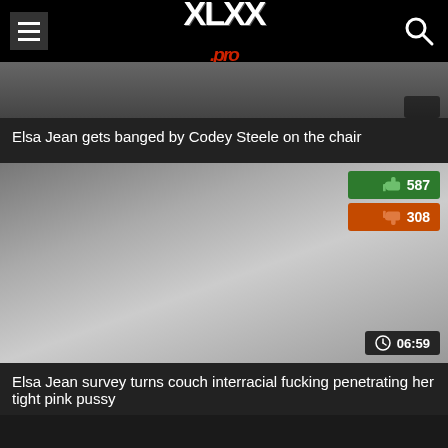XLXX.pro
[Figure (screenshot): Partial video thumbnail for first video]
Elsa Jean gets banged by Codey Steele on the chair
[Figure (screenshot): Video thumbnail showing two people in a room with a couch, with like count 587, dislike count 308, and duration 06:59]
Elsa Jean survey turns couch interracial fucking penetrating her tight pink pussy